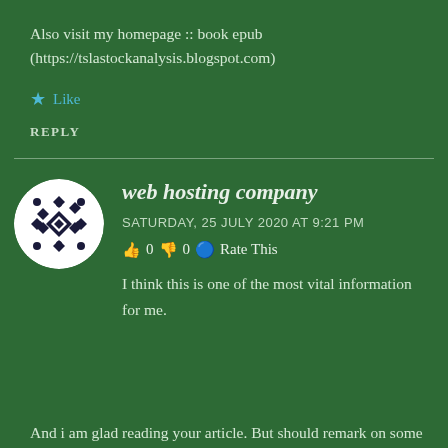Also visit my homepage :: book epub (https://tslastockanalysis.blogspot.com)
★ Like
REPLY
web hosting company
SATURDAY, 25 JULY 2020 AT 9:21 PM
👍 0 👎 0 🔵 Rate This
I think this is one of the most vital information for me.
And i am glad reading your article. But should remark on some